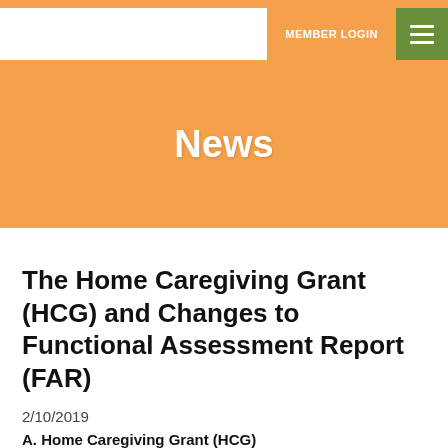MEMBER LOGIN | ☰
News
The Home Caregiving Grant (HCG) and Changes to Functional Assessment Report (FAR)
2/10/2019
A. Home Caregiving Grant (HCG)
1.    The new Home Caregiving Grant (HCG) will replace